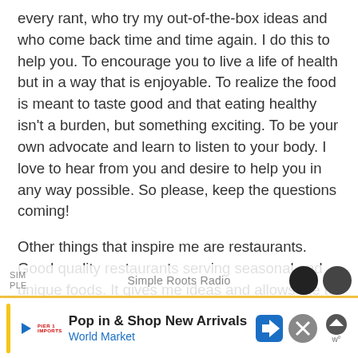every rant, who try my out-of-the-box ideas and who come back time and time again. I do this to help you. To encourage you to live a life of health but in a way that is enjoyable. To realize the food is meant to taste good and that eating healthy isn't a burden, but something exciting. To be your own advocate and learn to listen to your body. I love to hear from you and desire to help you in any way possible. So please, keep the questions coming!
Other things that inspire me are restaurants. Good quality restaurants serving seasonal and unique foods. It gives me ideas and allows me to try new flavors letting my mind race with new ideas. And of course
[Figure (other): Advertisement banner for World Market: 'Pop in & Shop New Arrivals' with World Market logo, navigation arrow icon, close button, and scroll-up button. Yellow top border strip. Below it a partially visible podcast player bar for 'Simple Roots Radio'.]